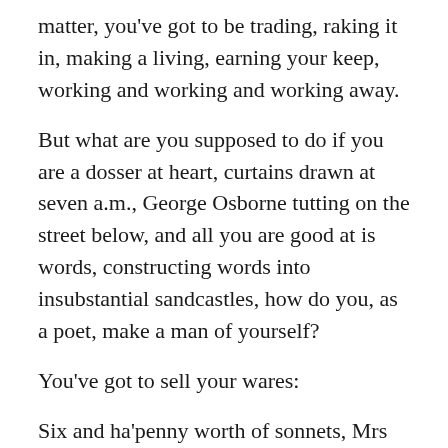matter, you've got to be trading, raking it in, making a living, earning your keep, working and working and working away.
But what are you supposed to do if you are a dosser at heart, curtains drawn at seven a.m., George Osborne tutting on the street below, and all you are good at is words, constructing words into insubstantial sandcastles, how do you, as a poet, make a man of yourself?
You've got to sell your wares:
Six and ha'penny worth of sonnets, Mrs Springtime?
Do you want some limericks with that?
Will that be open or wrapped?